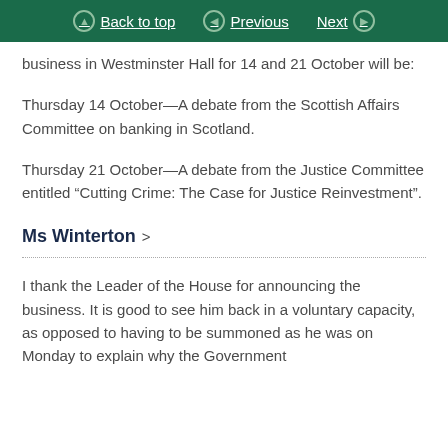Back to top | Previous | Next
business in Westminster Hall for 14 and 21 October will be:
Thursday 14 October—A debate from the Scottish Affairs Committee on banking in Scotland.
Thursday 21 October—A debate from the Justice Committee entitled “Cutting Crime: The Case for Justice Reinvestment”.
Ms Winterton >
I thank the Leader of the House for announcing the business. It is good to see him back in a voluntary capacity, as opposed to having to be summoned as he was on Monday to explain why the Government